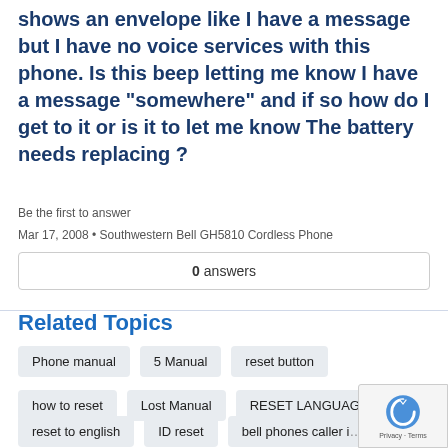shows an envelope like I have a message but I have no voice services with this phone. Is this beep letting me know I have a message "somewhere" and if so how do I get to it or is it to let me know The battery needs replacing ?
Be the first to answer
Mar 17, 2008 • Southwestern Bell GH5810 Cordless Phone
0 answers
Related Topics
Phone manual
5 Manual
reset button
how to reset
Lost Manual
RESET LANGUAGE
reset to english
ID reset
bell phones caller id